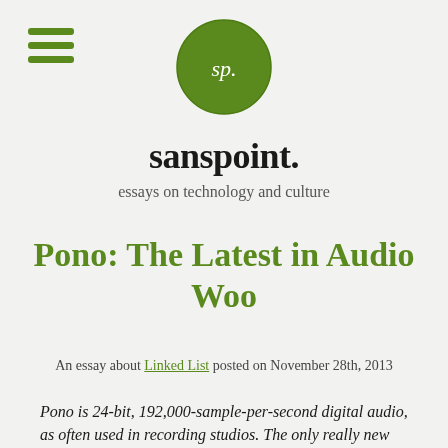[Figure (logo): Green circular logo with 'sp.' text in white serif font]
sanspoint.
essays on technology and culture
Pono: The Latest in Audio Woo
An essay about Linked List posted on November 28th, 2013
Pono is 24-bit, 192,000-sample-per-second digital audio, as often used in recording studios. The only really new thing about it is